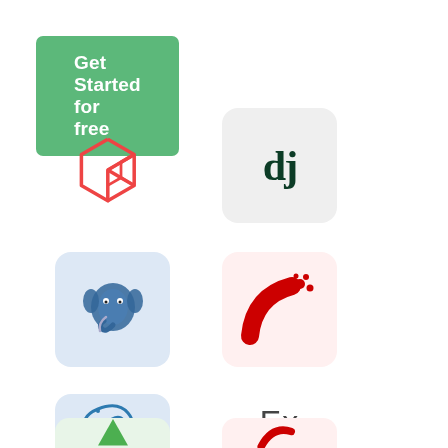[Figure (logo): Green 'Get Started for free' button]
[Figure (logo): Laravel logo - red outlined hexagonal box icon]
[Figure (logo): Django logo - 'dj' text on light gray background]
[Figure (logo): PostgreSQL elephant logo on light blue background]
[Figure (logo): Ruby on Rails logo - red arc on light red/pink background]
[Figure (logo): MySQL dolphin logo on light blue background]
[Figure (logo): Express.js 'Ex' text logo, no background]
[Figure (logo): Partially visible logo at bottom left - green triangle shape on light gray]
[Figure (logo): Partially visible logo at bottom right - red element on light pink/red background]